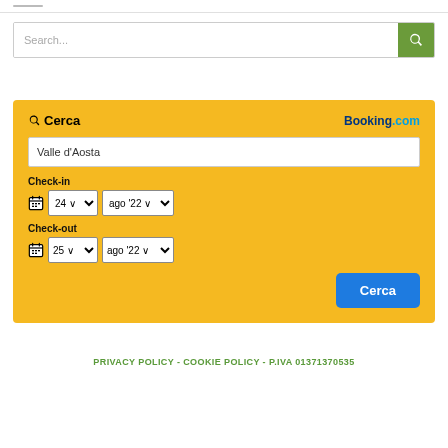Search...
[Figure (screenshot): Booking.com search widget on yellow/orange background with Cerca title, Valle d'Aosta destination input, Check-in date 24 ago '22, Check-out date 25 ago '22, and blue Cerca button]
PRIVACY POLICY - COOKIE POLICY - P.IVA 01371370535